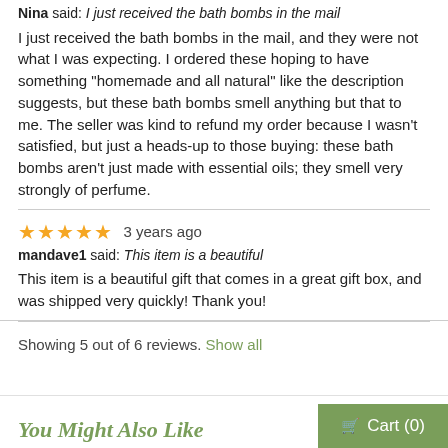Nina said: I just received the bath bombs in the mail
I just received the bath bombs in the mail, and they were not what I was expecting. I ordered these hoping to have something "homemade and all natural" like the description suggests, but these bath bombs smell anything but that to me. The seller was kind to refund my order because I wasn't satisfied, but just a heads-up to those buying: these bath bombs aren't just made with essential oils; they smell very strongly of perfume.
★★★★★  3 years ago
mandave1 said: This item is a beautiful
This item is a beautiful gift that comes in a great gift box, and was shipped very quickly! Thank you!
Showing 5 out of 6 reviews. Show all
You Might Also Like
Cart (0)